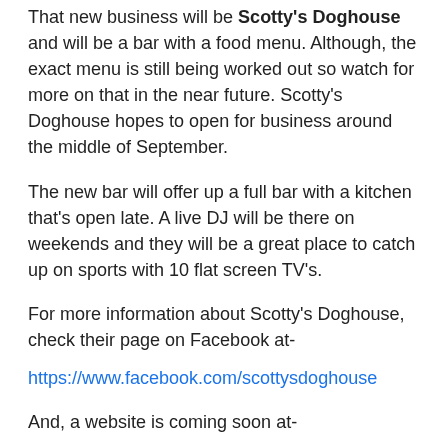That new business will be Scotty's Doghouse and will be a bar with a food menu. Although, the exact menu is still being worked out so watch for more on that in the near future. Scotty's Doghouse hopes to open for business around the middle of September.
The new bar will offer up a full bar with a kitchen that's open late. A live DJ will be there on weekends and they will be a great place to catch up on sports with 10 flat screen TV's.
For more information about Scotty's Doghouse, check their page on Facebook at-
https://www.facebook.com/scottysdoghouse
And, a website is coming soon at-
http://scottysdoghouse.com
Matthew Behringer at 12:00 PM
Share